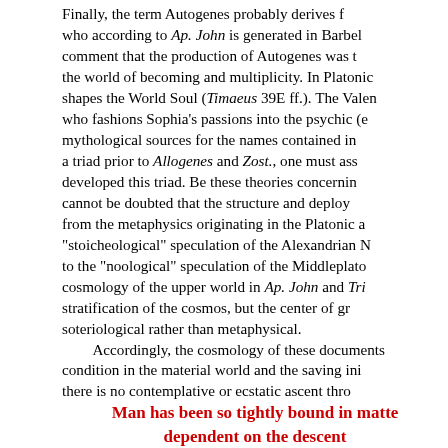Finally, the term Autogenes probably derives f... who according to Ap. John is generated in Barbel... comment that the production of Autogenes was t... the world of becoming and multiplicity. In Platonic shapes the World Soul (Timaeus 39E ff.). The Valen who fashions Sophia's passions into the psychic (e mythological sources for the names contained in a triad prior to Allogenes and Zost., one must ass developed this triad. Be these theories concernin cannot be doubted that the structure and deploy from the metaphysics originating in the Platonic a "stoicheological" speculation of the Alexandrian N to the "noological" speculation of the Middleplato cosmology of the upper world in Ap. John and Tri stratification of the cosmos, but the center of gr soteriological rather than metaphysical. Accordingly, the cosmology of these documents condition in the material world and the saving ini there is no contemplative or ecstatic ascent thro
Man has been so tightly bound in matte dependent on the descent